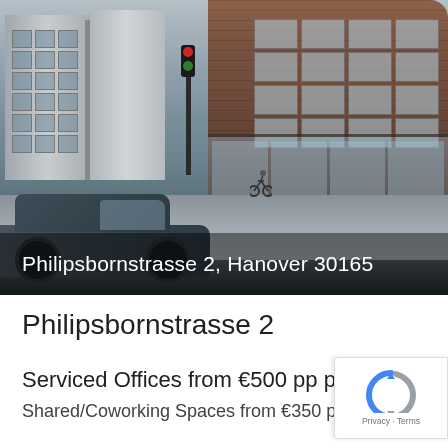[Figure (photo): Street-level photo of Philipsbornstrasse 2 in Hanover, showing a large brick office building on the right with rounded corner, and a European city street with cars, cyclists, and pedestrians. A dark sedan is prominent in the foreground left. The address 'Philipsbornstrasse 2, Hanover 30165' is overlaid in white text at the bottom of the photo.]
Philipsbornstrasse 2
Serviced Offices from €500 pp pm
Shared/Coworking Spaces from €350 pp pm